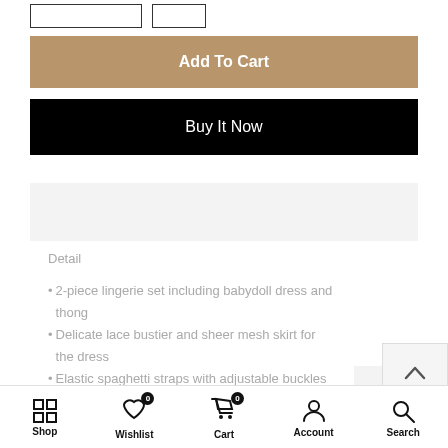[Figure (screenshot): Partial view of size selector buttons at the top]
Add To Cart
Buy It Now
Description & Size Guide
Detail
2-piece lingerie set including babydoll dress and thong
Delicate lace bustier and sheer mesh skirt for the dress
Elastic spaghetti straps with adjustable buckles
Made from soft high stretch fabric in hot sexy style,
Shop   Wishlist 0   Cart 0   Account   Search